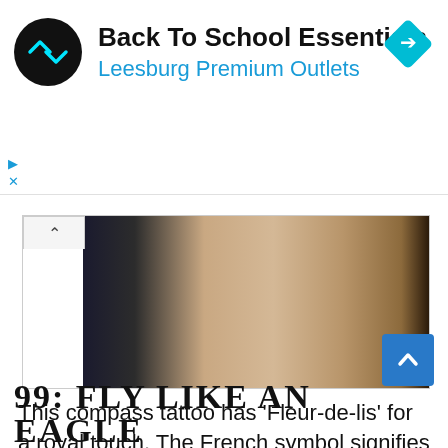[Figure (screenshot): Advertisement banner for 'Back To School Essentials' at Leesburg Premium Outlets, with a circular black logo showing a double arrow icon, and a cyan/teal diamond-shaped navigation icon on the right. Below the ad are small play and close controls.]
[Figure (photo): A cropped photo showing what appears to be skin with a tattoo, dark background on left and light skin tones in the center and right, with a tab/toggle button at top left showing an upward chevron.]
This compass tattoo has ‘Fleur-de-lis’ for a royal touch. The French symbol signifies perfection, light, and life. You can use your own symbols with compass design to create a unique design.
99: FLY LIKE AN EAGLE